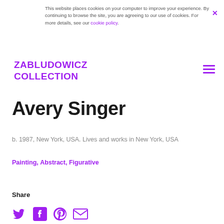This website places cookies on your computer to improve your experience. By continuing to browse the site, you are agreeing to our use of cookies. For more details, see our cookie policy.
ZABLUDOWICZ COLLECTION
Avery Singer
b. 1987, New York, USA. Lives and works in New York, USA
Painting, Abstract, Figurative
Share